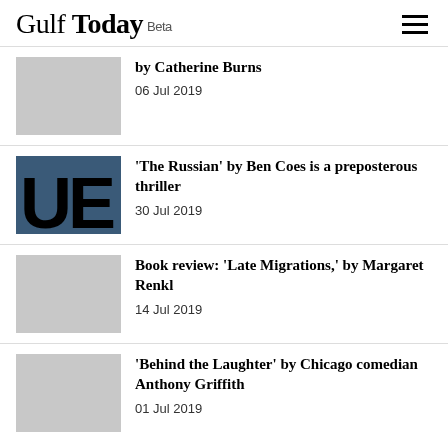Gulf Today Beta
by Catherine Burns
06 Jul 2019
'The Russian' by Ben Coes is a preposterous thriller
30 Jul 2019
Book review: 'Late Migrations,' by Margaret Renkl
14 Jul 2019
'Behind the Laughter' by Chicago comedian Anthony Griffith
01 Jul 2019